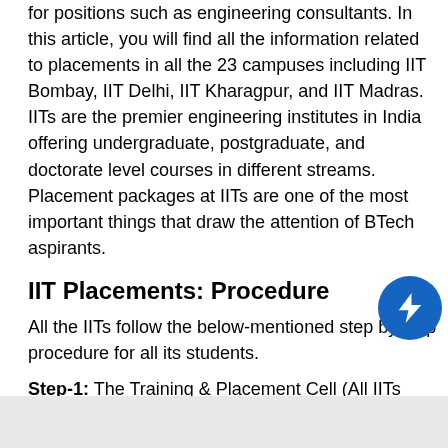for positions such as engineering consultants. In this article, you will find all the information related to placements in all the 23 campuses including IIT Bombay, IIT Delhi, IIT Kharagpur, and IIT Madras. IITs are the premier engineering institutes in India offering undergraduate, postgraduate, and doctorate level courses in different streams. Placement packages at IITs are one of the most important things that draw the attention of BTech aspirants.
IIT Placements: Procedure
All the IITs follow the below-mentioned step by step procedure for all its students.
Step-1: The Training & Placement Cell (All IITs have a separate T&P cell), assisted by student representatives, sends invitations to companies along with relevant information and documents like Placement Brochure, Job Announcement Form (JAF), etc.
Step-2: A company can also show interest in recruiting students by contacting the T&P Cell of the respective IITs. They need to